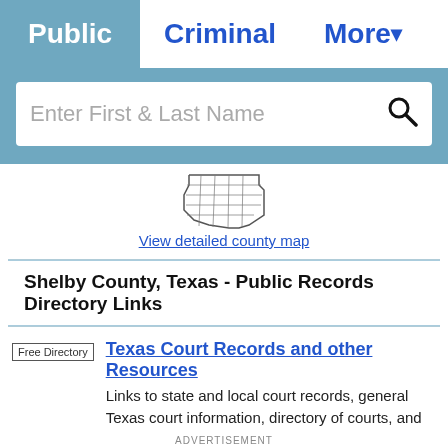Public | Criminal | More
[Figure (screenshot): Search bar with placeholder text 'Enter First & Last Name' and a search icon, on a teal/blue background]
[Figure (map): Partial outline map of Texas showing county grid lines]
View detailed county map
Shelby County, Texas - Public Records Directory Links
Texas Court Records and other Resources
Links to state and local court records, general Texas court information, directory of courts, and online resources for courts in Texas.
ADVERTISEMENT